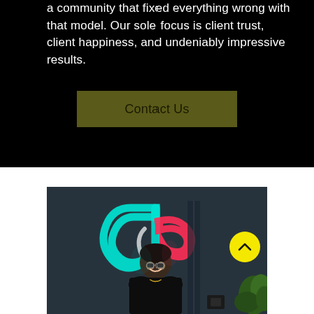a community that fixed everything wrong with that model. Our sole focus is client trust, client happiness, and undeniably impressive results.
Contact Us
[Figure (photo): Person smiling in front of a large neon TikTok logo sign on a dark wall, with green plants visible on the right. A yellow circular scroll-up button is overlaid on the right side of the image.]